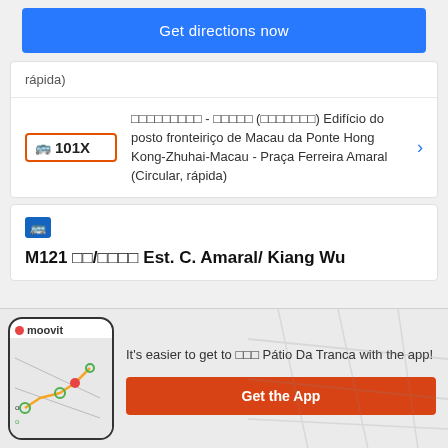Get directions now
rápida)
101X — □□□□□□□□□ - □□□□□ (□□□□□□□) Edifício do posto fronteiriço de Macau da Ponte Hong Kong-Zhuhai-Macau - Praça Ferreira Amaral (Circular, rápida)
[Figure (screenshot): Bus route M121 card with blue bus icon]
M121 □□/□□□□ Est. C. Amaral/ Kiang Wu
[Figure (screenshot): Moovit app promo bar with phone mockup showing map route, logo, promo text and Get the App button]
It's easier to get to □□□ Pátio Da Tranca with the app!
Get the App